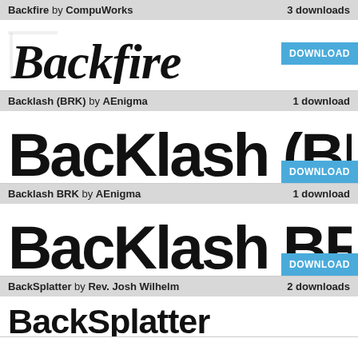Backfire by CompuWorks — 3 downloads
[Figure (illustration): Preview of 'Backfire' font rendering the word 'Backfire' in a rough/grunge serif style]
Backlash (BRK) by AEnigma — 1 download
[Figure (illustration): Preview of 'Backlash (BRK)' font rendering the text 'Backlash (BRK' in a bold blocky style]
Backlash BRK by AEnigma — 1 download
[Figure (illustration): Preview of 'Backlash BRK' font rendering the text 'Backlash BRK' in a bold blocky style]
BackSplatter by Rev. Josh Wilhelm — 2 downloads
[Figure (illustration): Preview of 'BackSplatter' font rendering the word 'BackSplatter' in a splatter/grunge style]